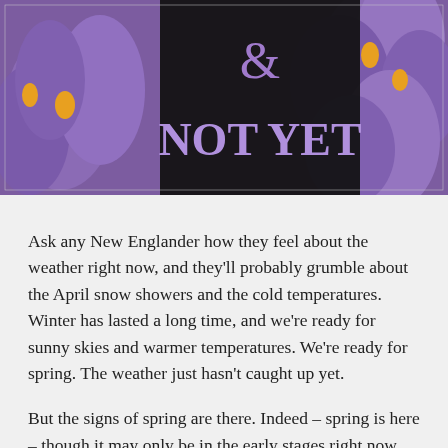[Figure (photo): Photo of purple crocus flowers blooming, with a dark center overlay text block showing '&' and 'NOT YET' in large purple letters on black background]
Ask any New Englander how they feel about the weather right now, and they'll probably grumble about the April snow showers and the cold temperatures. Winter has lasted a long time, and we're ready for sunny skies and warmer temperatures. We're ready for spring. The weather just hasn't caught up yet.
But the signs of spring are there. Indeed – spring is here – though it may only be in the early stages right now. At work, the crocuses are blooming amidst the shriveled up